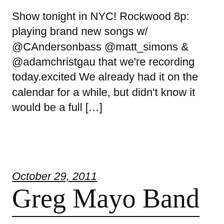Show tonight in NYC! Rockwood 8p: playing brand new songs w/ @CAndersonbass @matt_simons & @adamchristgau that we're recording today.excited We already had it on the calendar for a while, but didn't know it would be a full […]
October 29, 2011
Greg Mayo Band